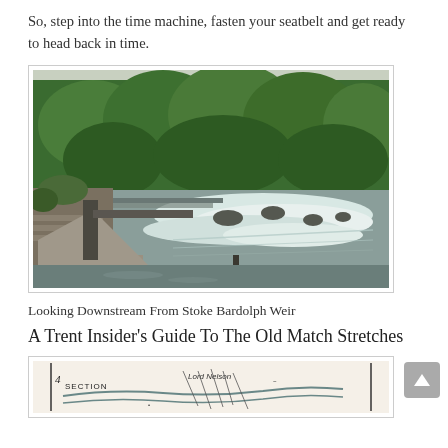So, step into the time machine, fasten your seatbelt and get ready to head back in time.
[Figure (photo): Photograph looking downstream from Stoke Bardolph Weir, showing a wide river with white water flowing over a weir, with a wooded hillside in the background and a riverside path and steps in the foreground on the left.]
Looking Downstream From Stoke Bardolph Weir
A Trent Insider's Guide To The Old Match Stretches
[Figure (map): Partial view of a hand-drawn or old printed map showing a section of the River Trent with annotations including 'SECTION' and 'Lord Nelson' text visible.]